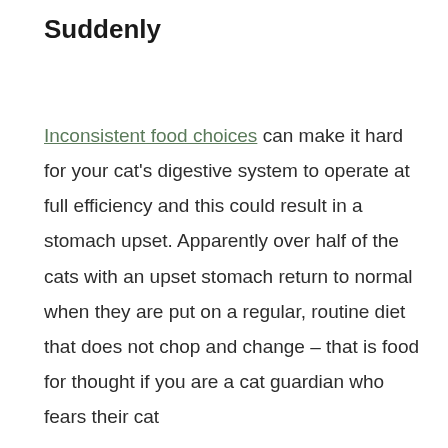Suddenly
Inconsistent food choices can make it hard for your cat's digestive system to operate at full efficiency and this could result in a stomach upset. Apparently over half of the cats with an upset stomach return to normal when they are put on a regular, routine diet that does not chop and change – that is food for thought if you are a cat guardian who fears their cat